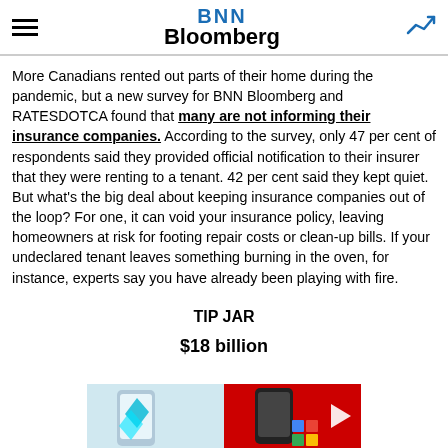BNN Bloomberg
More Canadians rented out parts of their home during the pandemic, but a new survey for BNN Bloomberg and RATESDOTCA found that many are not informing their insurance companies. According to the survey, only 47 per cent of respondents said they provided official notification to their insurer that they were renting to a tenant. 42 per cent said they kept quiet. But what’s the big deal about keeping insurance companies out of the loop? For one, it can void your insurance policy, leaving homeowners at risk for footing repair costs or clean-up bills. If your undeclared tenant leaves something burning in the oven, for instance, experts say you have already been playing with fire.
TIP JAR
$18 billion
[Figure (photo): Advertisement banner showing a smartphone on a red background with Google logo]